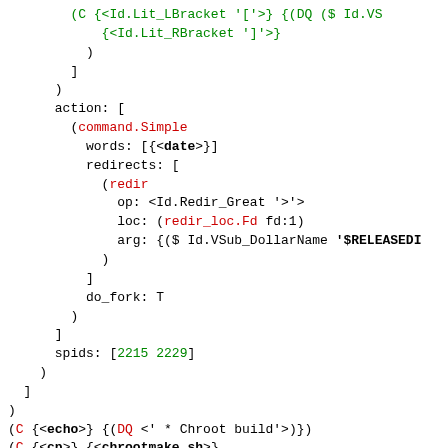Code snippet showing shell AST data structure with command definitions including action, redirects, spids, echo/cp commands, and command.AndOr